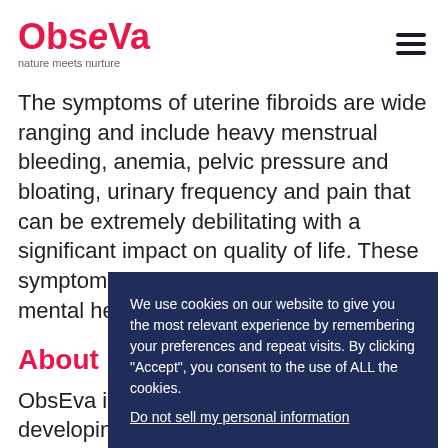ObsEva — nature meets nurture
The symptoms of uterine fibroids are wide ranging and include heavy menstrual bleeding, anemia, pelvic pressure and bloating, urinary frequency and pain that can be extremely debilitating with a significant impact on quality of life. These symptoms can also have an impact on mental health — the additional burden of anxiety and di...
About ObsE...
ObsEva is a b... developing an... to improve w... pregnancy. Th... disciplined drug development, ObsEva has
We use cookies on our website to give you the most relevant experience by remembering your preferences and repeat visits. By clicking "Accept", you consent to the use of ALL the cookies.
Do not sell my personal information.
Cookie Settings  Accept